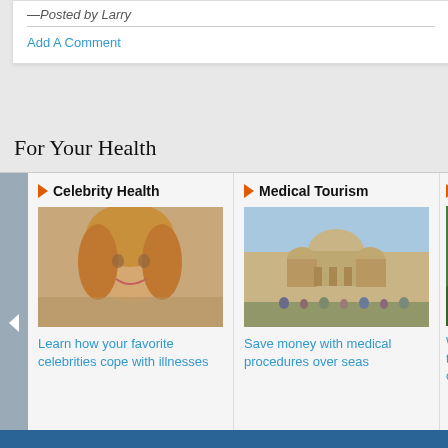—Posted by Larry
Add A Comment
For Your Health
[Figure (screenshot): Health content carousel with three visible panels: Celebrity Health (photo of blonde woman smiling), Medical Tourism (photo of Indian temple/monument), and a partially visible third panel. Each has an orange arrow category header and a cyan link text below the image.]
Celebrity Health
Learn how your favorite celebrities cope with illnesses
Medical Tourism
Save money with medical procedures over seas
B...